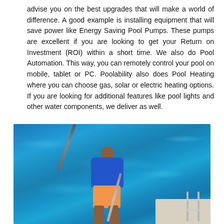advise you on the best upgrades that will make a world of difference. A good example is installing equipment that will save power like Energy Saving Pool Pumps. These pumps are excellent if you are looking to get your Return on Investment (ROI) within a short time. We also do Pool Automation. This way, you can remotely control your pool on mobile, tablet or PC. Poolability also does Pool Heating where you can choose gas, solar or electric heating options. If you are looking for additional features like pool lights and other water components, we deliver as well.
[Figure (photo): A person wearing a blue shirt and orange shorts cleaning a swimming pool with a vacuum hose/pole, standing at the pool edge with a ladder visible on the right side. The pool water is bright blue.]